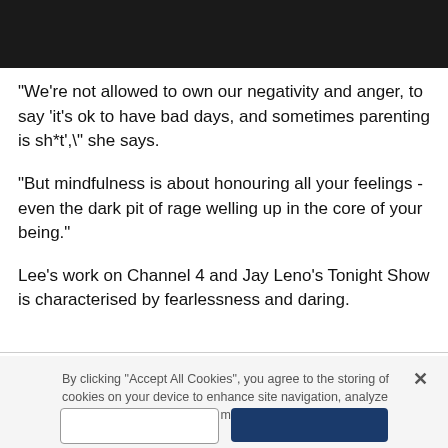[Figure (photo): Black bar at the top of the page, likely a cropped image header]
"We're not allowed to own our negativity and anger, to say 'it's ok to have bad days, and sometimes parenting is sh*t'," she says.
"But mindfulness is about honouring all your feelings - even the dark pit of rage welling up in the core of your being."
Lee's work on Channel 4 and Jay Leno's Tonight Show is characterised by fearlessness and daring.
By clicking "Accept All Cookies", you agree to the storing of cookies on your device to enhance site navigation, analyze site usage, and assist in our marketing efforts.